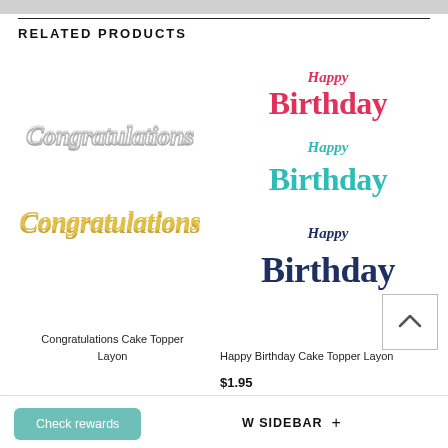RELATED PRODUCTS
[Figure (photo): Congratulations Cake Topper Layon product image showing two versions: silver outline and gold filled cursive script]
[Figure (photo): Happy Birthday Cake Topper Layon product image showing three versions: red, teal/cyan, and dark navy]
Congratulations Cake Topper Layon
Happy Birthday Cake Topper Layon
$1.95
Check rewards
W SIDEBAR +